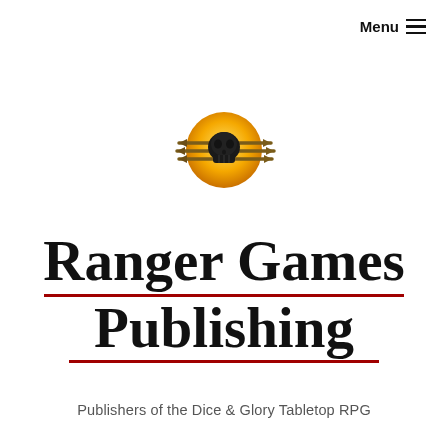Menu ≡
[Figure (logo): Ranger Games Publishing logo: a golden sun/circle with a skull and three arrows passing through it horizontally]
Ranger Games Publishing
Publishers of the Dice & Glory Tabletop RPG